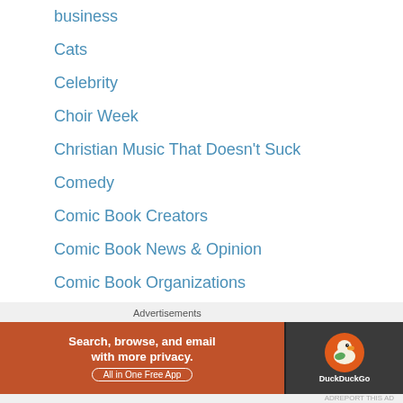business
Cats
Celebrity
Choir Week
Christian Music That Doesn't Suck
Comedy
Comic Book Creators
Comic Book News & Opinion
Comic Book Organizations
Comic Books
Comics How To
Compassion
Computers
Advertisements
[Figure (infographic): DuckDuckGo advertisement banner: orange left side with text 'Search, browse, and email with more privacy. All in One Free App', dark right side with DuckDuckGo duck logo and brand name.]